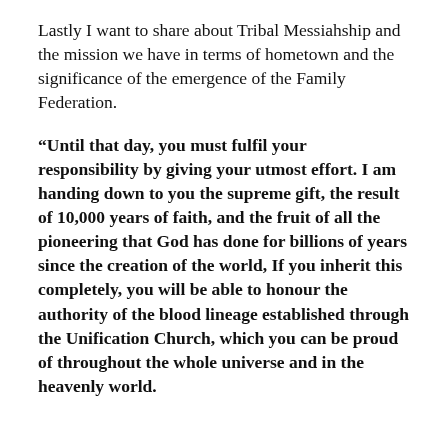Lastly I want to share about Tribal Messiahship and the mission we have in terms of hometown and the significance of the emergence of the Family Federation.
“Until that day, you must fulfil your responsibility by giving your utmost effort. I am handing down to you the supreme gift, the result of 10,000 years of faith, and the fruit of all the pioneering that God has done for billions of years since the creation of the world, If you inherit this completely, you will be able to honour the authority of the blood lineage established through the Unification Church, which you can be proud of throughout the whole universe and in the heavenly world.